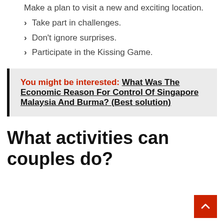Make a plan to visit a new and exciting location.
Take part in challenges.
Don't ignore surprises.
Participate in the Kissing Game.
You might be interested: What Was The Economic Reason For Control Of Singapore Malaysia And Burma? (Best solution)
What activities can couples do?